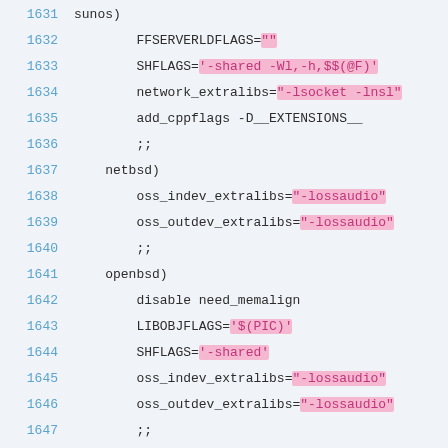Code listing lines 1631-1655, shell script configuration for various BSD platforms
1631   sunos)
1632       FFSERVERLDFLAGS=""
1633       SHFLAGS='-shared -Wl,-h,$S(@F)'
1634       network_extralibs="-lsocket -lnsl"
1635       add_cppflags -D__EXTENSIONS__
1636       ;;
1637   netbsd)
1638       oss_indev_extralibs="-lossaudio"
1639       oss_outdev_extralibs="-lossaudio"
1640       ;;
1641   openbsd)
1642       disable need_memalign
1643       LIBOBJFLAGS='$(PIC)'
1644       SHFLAGS='-shared'
1645       oss_indev_extralibs="-lossaudio"
1646       oss_outdev_extralibs="-lossaudio"
1647       ;;
1648   freebsd|dragonfly)
1649       disable need_memalign
1650       ;;
1651   bsd/os)
1652       osextralibs="-lpoll -lgnugetopt"
1653       strip="strip -d"
1654       ;;
1655   darwin)